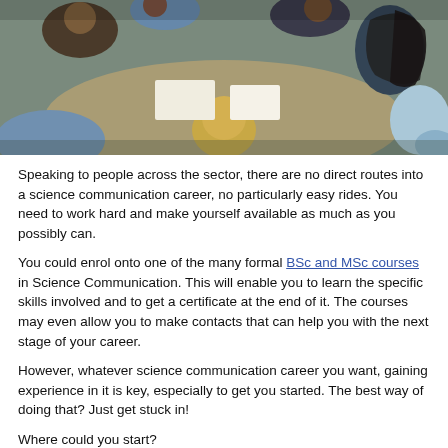[Figure (photo): Overhead view of a group of students or people sitting in a circle around a table, working together, with papers on the table. Multiple people visible from above.]
Speaking to people across the sector, there are no direct routes into a science communication career, no particularly easy rides. You need to work hard and make yourself available as much as you possibly can.
You could enrol onto one of the many formal BSc and MSc courses in Science Communication. This will enable you to learn the specific skills involved and to get a certificate at the end of it. The courses may even allow you to make contacts that can help you with the next stage of your career.
However, whatever science communication career you want, gaining experience in it is key, especially to get you started. The best way of doing that? Just get stuck in!
Where could you start?